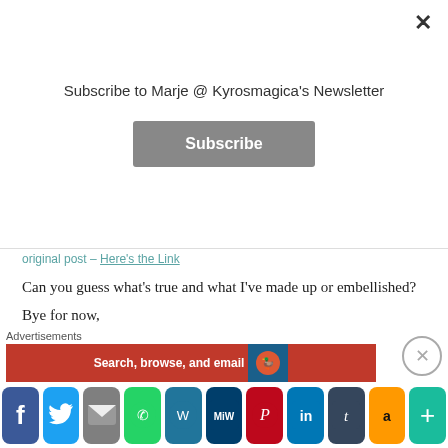Subscribe to Marje @ Kyrosmagica's Newsletter
Subscribe
original post – Here's the Link
Can you guess what's true and what I've made up or embellished?
Bye for now,
[Figure (illustration): Cartoon avatar of a woman with brown hair and bowler hat, with speech bubble saying 'MY WACKY AUTHOR BIO']
Advertisements
Search, browse, and email
[Figure (infographic): Social media sharing buttons: Facebook, Twitter, Email, WhatsApp, WordPress, MeWe, Pinterest, LinkedIn, Tumblr, Amazon, More]